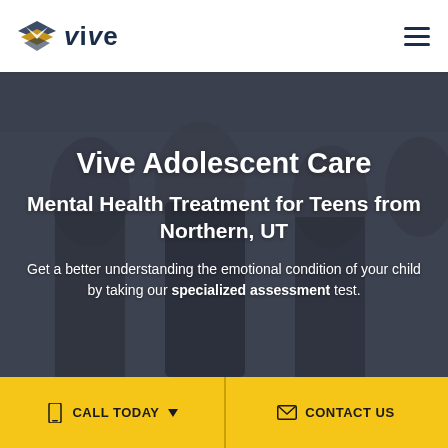Vive (logo) — navigation header with hamburger menu
Vive Adolescent Care
Mental Health Treatment for Teens from Northern, UT
Get a better understanding the emotional condition of your child by taking our specialized assessment test.
CALL TODAY   CONTACT US